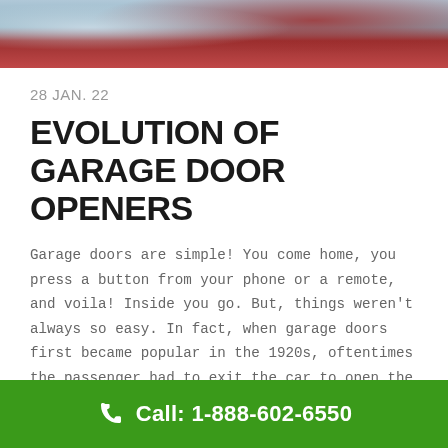[Figure (photo): Top portion of a photo showing a garage door mechanism or car with chrome/metallic elements and red surfaces]
28 JAN. 22
EVOLUTION OF GARAGE DOOR OPENERS
Garage doors are simple! You come home, you press a button from your phone or a remote, and voila! Inside you go. But, things weren't always so easy. In fact, when garage doors first became popular in the 1920s, oftentimes the passenger had to exit the car to open the garage manually. Even in the rain and snow. Luckily, both the convenience and the safety of garage door
Call: 1-888-602-6550